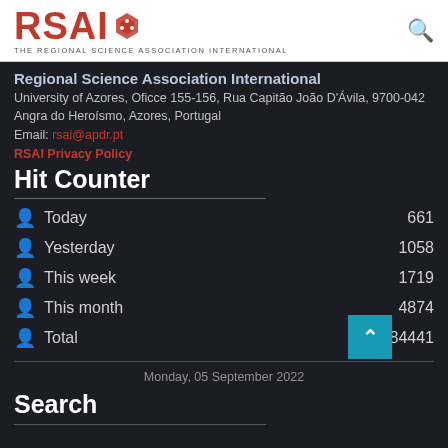[Figure (logo): RSAI logo with hexagonal icon and subtitle 'THE REGIONAL SCIENCE ASSOCIATION INTERNATIONAL']
Regional Science Association International
University of Azores, Oficce 155-156, Rua Capitão João D'Ávila, 9700-042 Angra do Heroísmo, Azores, Portugal
Email: rsai@apdr.pt
RSAI Privacy Policy
Hit Counter
Today  661
Yesterday  1058
This week  1719
This month  4874
Total  4584441
Monday, 05 September 2022
Search